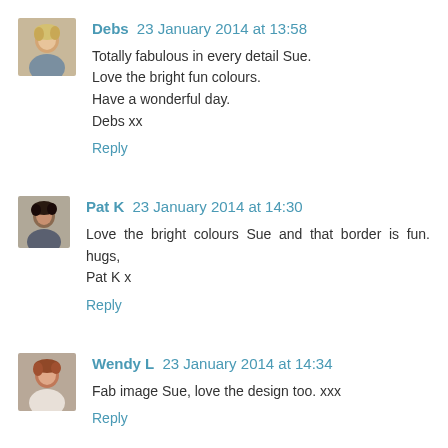[Figure (photo): Avatar photo of Debs - woman with blonde hair]
Debs 23 January 2014 at 13:58
Totally fabulous in every detail Sue.
Love the bright fun colours.
Have a wonderful day.
Debs xx
Reply
[Figure (photo): Avatar photo of Pat K - woman with dark hair]
Pat K 23 January 2014 at 14:30
Love the bright colours Sue and that border is fun. hugs, Pat K x
Reply
[Figure (photo): Avatar photo of Wendy L - woman with red/brown hair]
Wendy L 23 January 2014 at 14:34
Fab image Sue, love the design too. xxx
Reply